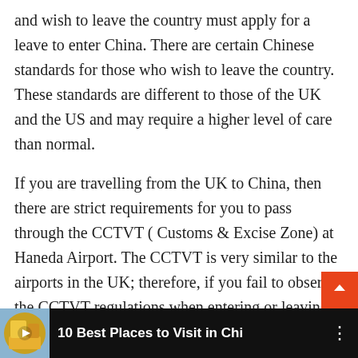and wish to leave the country must apply for a leave to enter China. There are certain Chinese standards for those who wish to leave the country. These standards are different to those of the UK and the US and may require a higher level of care than normal.
If you are travelling from the UK to China, then there are strict requirements for you to pass through the CCTVT ( Customs & Excise Zone) at Haneda Airport. The CCTVT is very similar to the airports in the UK; therefore, if you fail to observe the CCTVT regulations when entering or leaving China, you may have your passport invalidated. There are no public conveyances available in the CCTVT area, so you should not carry any visual or audio signals or information that could be used against you while travelling to China from the UK
[Figure (screenshot): Video thumbnail bar showing '10 Best Places to Visit in Chi' with a circular thumbnail icon and three-dot menu, dark background.]